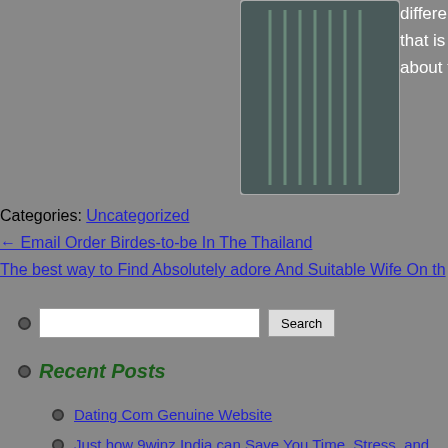[Figure (illustration): Decorative lined box graphic with dark teal/grey background and vertical lines]
different choices that are available that is available that can be purch about the different alternatives so
Categories: Uncategorized
← Email Order Birdes-to-be In The Thailand
The best way to Find Absolutely adore And Suitable Wife On th
[search box] Search
Recent Posts
Dating Com Genuine Website
Just how 9winz India can Save You Time, Stress, and
Bestiality Xxx, Animal Porn Tube, Zoophilia Free Mov
Peruvian Wives
15 Greatest Absolutely free Interracial Seeing Websi
Recent Comments
Mr WordPress on Hello world!